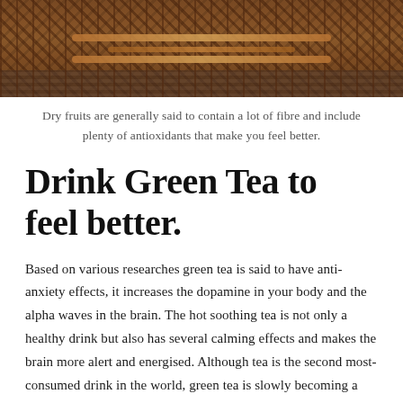[Figure (photo): Close-up photograph of a woven wicker/bamboo basket with brown and copper tones, placed on a wooden surface with a dark background.]
Dry fruits are generally said to contain a lot of fibre and include plenty of antioxidants that make you feel better.
Drink Green Tea to feel better.
Based on various researches green tea is said to have anti-anxiety effects, it increases the dopamine in your body and the alpha waves in the brain. The hot soothing tea is not only a healthy drink but also has several calming effects and makes the brain more alert and energised. Although tea is the second most-consumed drink in the world, green tea is slowly becoming a widely consumed drink by many individuals.